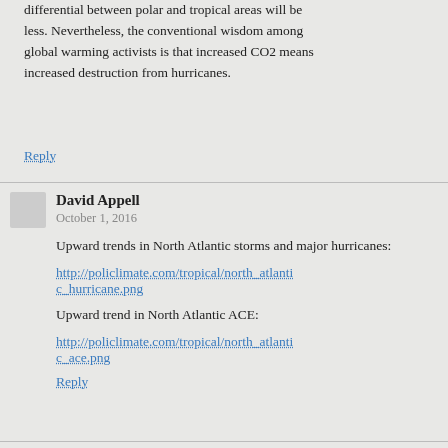differential between polar and tropical areas will be less. Nevertheless, the conventional wisdom among global warming activists is that increased CO2 means increased destruction from hurricanes.
Reply
David Appell
October 1, 2016
Upward trends in North Atlantic storms and major hurricanes:
http://policlimate.com/tropical/north_atlantic_hurricane.png
Upward trend in North Atlantic ACE:
http://policlimate.com/tropical/north_atlantic_ace.png
Reply